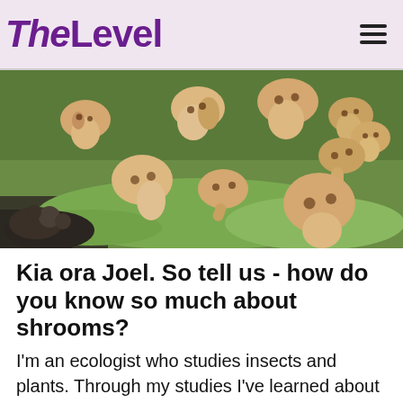TheLevel
[Figure (illustration): Cartoon animation scene showing many mushroom-like creatures with faces scattered across a green grassy field. The creatures are beige/tan colored with dark spots, in various poses. Some appear to be moving or bending. The scene looks like it is from an animated film or cartoon.]
Kia ora Joel. So tell us - how do you know so much about shrooms?
I'm an ecologist who studies insects and plants. Through my studies I've learned about how to identify different plants, fungi and insects. I've also been volunteering with Know Your Stuff for